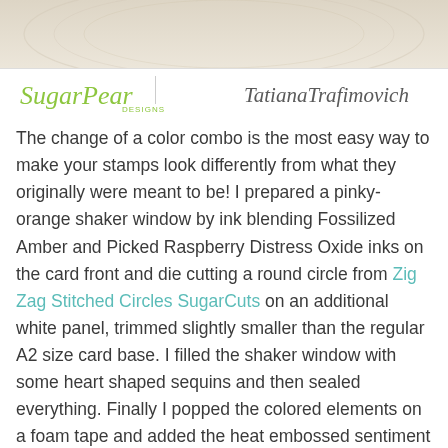[Figure (photo): Top portion of a craft/stamping project photo showing a light wood grain or pale background]
[Figure (logo): SugarPear Designs logo in green script on the left, a vertical divider, and Tatiana Trafimovich signature/name in italic gray on the right]
The change of a color combo is the most easy way to make your stamps look differently from what they originally were meant to be! I prepared a pinky-orange shaker window by ink blending Fossilized Amber and Picked Raspberry Distress Oxide inks on the card front and die cutting a round circle from Zig Zag Stitched Circles SugarCuts on an additional white panel, trimmed slightly smaller than the regular A2 size card base. I filled the shaker window with some heart shaped sequins and then sealed everything. Finally I popped the colored elements on a foam tape and added the heat embossed sentiment from the same Eskimo Kisses stamp set.